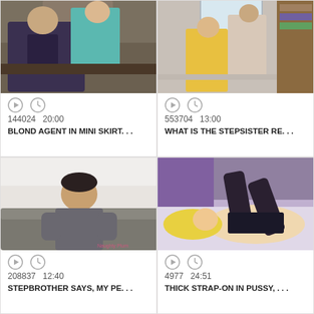[Figure (screenshot): Video thumbnail showing two people in an intimate scene, indoor gym/office setting]
144024   20:00
BLOND AGENT IN MINI SKIRT. . .
[Figure (screenshot): Video thumbnail showing two people in an intimate scene, bedroom/window setting]
553704   13:00
WHAT IS THE STEPSISTER RE. . .
[Figure (screenshot): Video thumbnail showing a young man sitting on a grey couch]
208837   12:40
STEPBROTHER SAYS, MY PE. . .
[Figure (screenshot): Video thumbnail showing a blonde woman in black lingerie/stockings on a bed]
4977   24:51
THICK STRAP-ON IN PUSSY, . . .